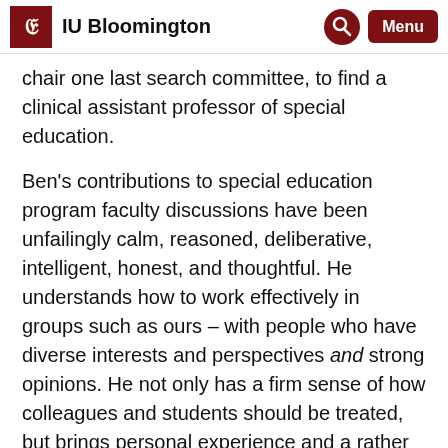IU Bloomington
chair one last search committee, to find a clinical assistant professor of special education.
Ben's contributions to special education program faculty discussions have been unfailingly calm, reasoned, deliberative, intelligent, honest, and thoughtful. He understands how to work effectively in groups such as ours – with people who have diverse interests and perspectives and strong opinions. He not only has a firm sense of how colleagues and students should be treated, but brings personal experience and a rather unique set of competencies when applying these qualities in practice.
We wish Ben a retirement full of grandbabies, tractors, gardening, and special times with his partner, Carol.